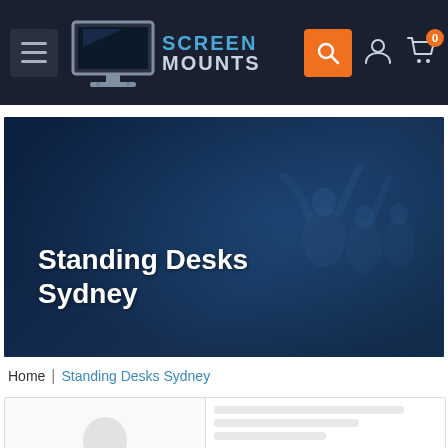[Figure (screenshot): Screen Mounts website navigation bar with hamburger menu, logo, search button, account icon, and cart icon showing 0 items]
[Figure (photo): Hero banner with dark blue overlay, blurred background of people, and white bold text reading Standing Desks Sydney]
Home | Standing Desks Sydney
[Figure (photo): Product listing grid showing a product image on the left (blurred figure of a person) and product details placeholder on the right]